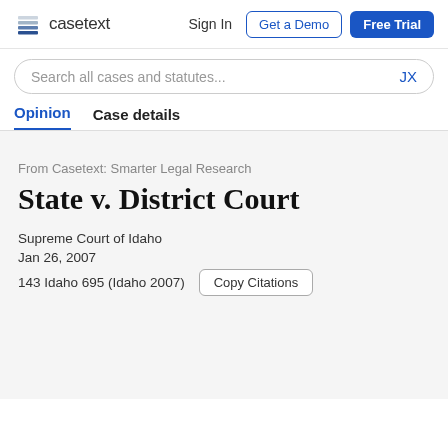casetext  Sign In  Get a Demo  Free Trial
Search all cases and statutes...  JX
Opinion  Case details
From Casetext: Smarter Legal Research
State v. District Court
Supreme Court of Idaho
Jan 26, 2007
143 Idaho 695 (Idaho 2007)